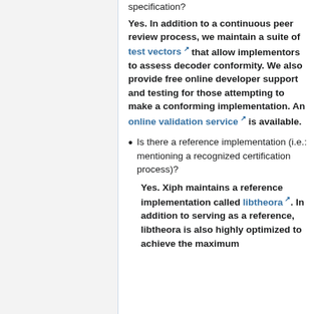specification?
Yes. In addition to a continuous peer review process, we maintain a suite of test vectors that allow implementors to assess decoder conformity. We also provide free online developer support and testing for those attempting to make a conforming implementation. An online validation service is available.
Is there a reference implementation (i.e.: mentioning a recognized certification process)?
Yes. Xiph maintains a reference implementation called libtheora. In addition to serving as a reference, libtheora is also highly optimized to achieve the maximum possible speed...